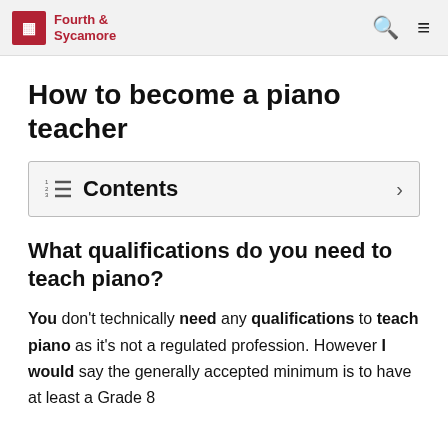Fourth & Sycamore
How to become a piano teacher
Contents
What qualifications do you need to teach piano?
You don't technically need any qualifications to teach piano as it's not a regulated profession. However I would say the generally accepted minimum is to have at least a Grade 8